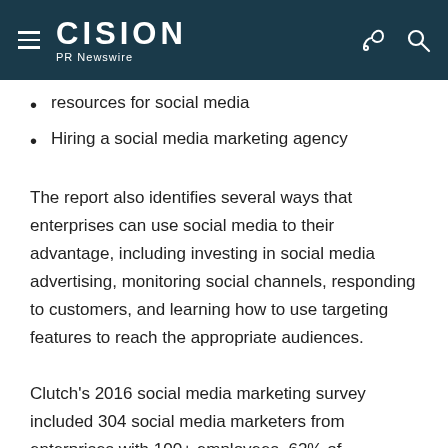CISION PR Newswire
resources for social media
Hiring a social media marketing agency
The report also identifies several ways that enterprises can use social media to their advantage, including investing in social media advertising, monitoring social channels, responding to customers, and learning how to use targeting features to reach the appropriate audiences.
Clutch's 2016 social media marketing survey included 304 social media marketers from enterprises with 100+ employees. 62% of companies consisted of